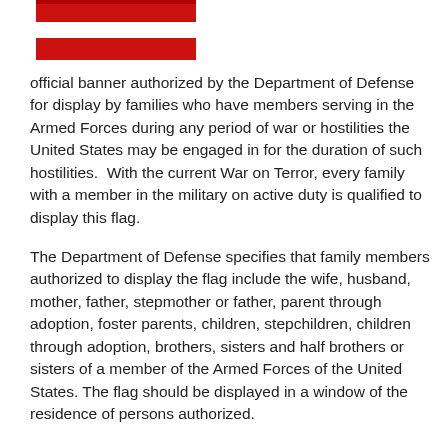[Figure (illustration): A red rectangular banner/flag with a white stripe, representing a military service flag]
official banner authorized by the Department of Defense for display by families who have members serving in the Armed Forces during any period of war or hostilities the United States may be engaged in for the duration of such hostilities.  With the current War on Terror, every family with a member in the military on active duty is qualified to display this flag.
The Department of Defense specifies that family members authorized to display the flag include the wife, husband, mother, father, stepmother or father, parent through adoption, foster parents, children, stepchildren, children through adoption, brothers, sisters and half brothers or sisters of a member of the Armed Forces of the United States. The flag should be displayed in a window of the residence of persons authorized.